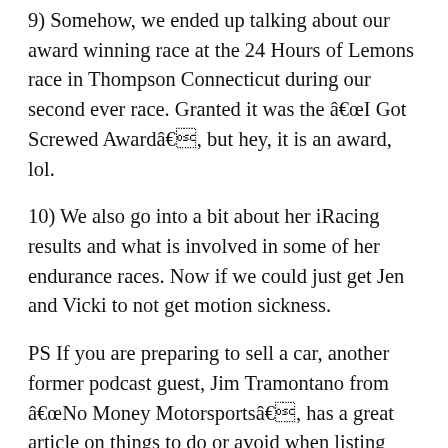9)  Somehow, we ended up talking about our award winning race at the 24 Hours of Lemons race in Thompson Connecticut during our second ever race.  Granted it was the âI Got Screwed Awardâ, but hey, it is an award, lol.
10)  We also go into a bit about her iRacing results and what is involved in some of her endurance races.  Now if we could just get Jen and Vicki to not get motion sickness.
PS If you are preparing to sell a car, another former podcast guest,  Jim Tramontano from âNo Money Motorsportsâ, has a great article on things to do or avoid when listing your car to maximize your selling price and minimize the time